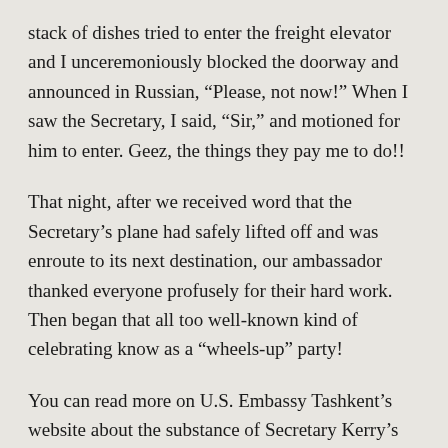stack of dishes tried to enter the freight elevator and I unceremoniously blocked the doorway and announced in Russian, “Please, not now!” When I saw the Secretary, I said, “Sir,” and motioned for him to enter. Geez, the things they pay me to do!!
That night, after we received word that the Secretary’s plane had safely lifted off and was enroute to its next destination, our ambassador thanked everyone profusely for their hard work. Then began that all too well-known kind of celebrating know as a “wheels-up” party!
You can read more on U.S. Embassy Tashkent’s website about the substance of Secretary Kerry’s meeting with the foreign ministers here, and more about his meeting with President Karimov here and here.
It will be years until I can say that I am a seasoned officer, but